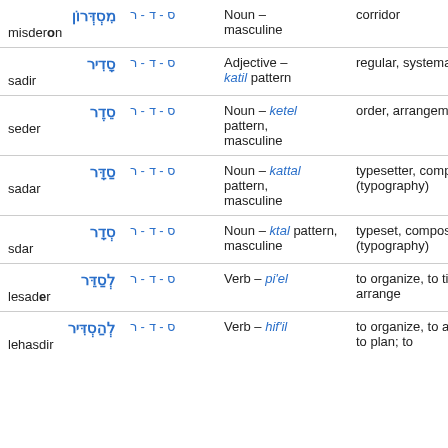| Word | Root | Grammar | Definition |
| --- | --- | --- | --- |
| מִסְדְּרוֹן / misderon | ס - ד - ר | Noun – masculine | corridor |
| סָדִיר / sadir | ס - ד - ר | Adjective – katil pattern | regular, systematic |
| סֵדֶר / seder | ס - ד - ר | Noun – ketel pattern, masculine | order, arrangement |
| סַדָּר / sadar | ס - ד - ר | Noun – kattal pattern, masculine | typesetter, compositor (typography) |
| סְדָר sdar | ס - ד - ר | Noun – ktal pattern, masculine | typeset, composition (typography) |
| לְסַדֵּר / lesader | ס - ד - ר | Verb – pi'el | to organize, to tidy, to arrange |
| לְהַסְדִּיר / lehasdir | ס - ד - ר | Verb – hif'il | to organize, to arrange, to plan; to |